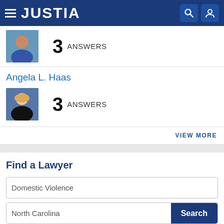[Figure (screenshot): Justia website navigation bar with hamburger menu, JUSTIA logo, search and user icons on dark blue background]
[Figure (photo): Attorney headshot photo - woman in blue top]
3 ANSWERS
Angela L. Haas
[Figure (photo): Attorney headshot photo - Angela L. Haas, woman with blonde hair in black jacket]
3 ANSWERS
VIEW MORE
Find a Lawyer
Domestic Violence
North Carolina
Search